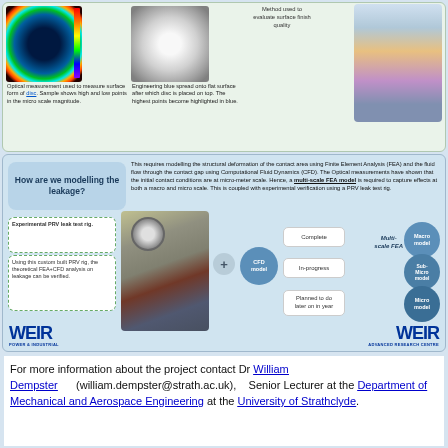[Figure (photo): Top section showing optical measurement photo, engineering blue disk photo, method description, and valve cross-section diagram]
Optical measurement used to measure surface form of disc. Sample shows high and low points in the micro scale magnitude.
Engineering blue spread onto flat surface after which disc is placed on top. The highest points become highlighted in blue.
Method used to evaluate surface finish quality
[Figure (infographic): Middle section: How are we modelling the leakage? Shows experimental PRV leak test rig, CFD model diagram, FEA multi-scale model with Macro model (Complete), Sub-Micro model (In-progress), Micro model (Planned to do later on in year). Also includes description text about FEA and CFD modelling.]
This requires modelling the structural deformation of the contact area using Finite Element Analysis (FEA) and the fluid flow through the contact gap using Computational Fluid Dynamics (CFD). The Optical measurements have shown that the initial contact conditions are at micro-meter scale. Hence, a multi-scale FEA model is required to capture effects at both a macro and micro scale. This is coupled with experimental verification using a PRV leak test rig.
For more information about the project contact Dr William Dempster (william.dempster@strath.ac.uk), Senior Lecturer at the Department of Mechanical and Aerospace Engineering at the University of Strathclyde.